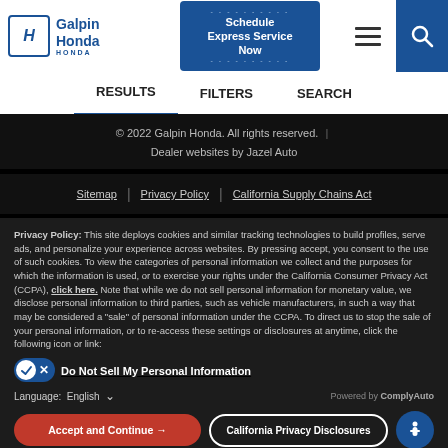Galpin Honda – Schedule Express Service Now – RESULTS FILTERS SEARCH
© 2022 Galpin Honda. All rights reserved. Dealer websites by Jazel Auto
Sitemap | Privacy Policy | California Supply Chains Act
Privacy Policy: This site deploys cookies and similar tracking technologies to build profiles, serve ads, and personalize your experience across websites. By pressing accept, you consent to the use of such cookies. To view the categories of personal information we collect and the purposes for which the information is used, or to exercise your rights under the California Consumer Privacy Act (CCPA), click here. Note that while we do not sell personal information for monetary value, we disclose personal information to third parties, such as vehicle manufacturers, in such a way that may be considered a "sale" of personal information under the CCPA. To direct us to stop the sale of your personal information, or to re-access these settings or disclosures at anytime, click the following icon or link:
Do Not Sell My Personal Information
Language: English – Powered by ComplyAuto
Accept and Continue → | California Privacy Disclosures